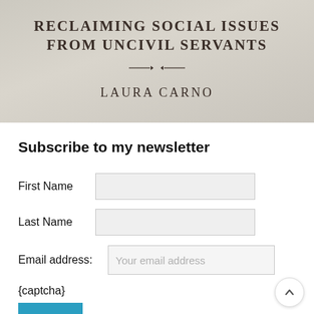[Figure (photo): Book cover image showing text 'Reclaiming Social Issues From Uncivil Servants' with a decorative divider and author name 'Laura Carno' in serif uppercase lettering on a worn/textured light background.]
Subscribe to my newsletter
First Name
Last Name
Email address:
{captcha}